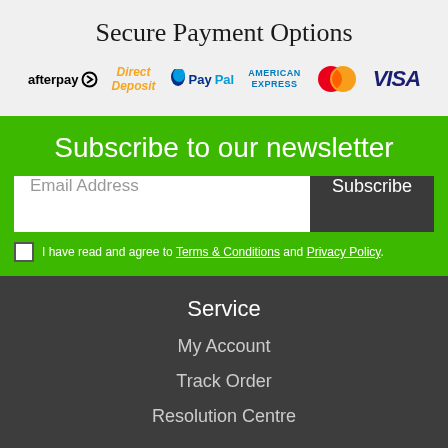Secure Payment Options
[Figure (logo): Payment logos: afterpay, Direct Deposit, PayPal, American Express, MasterCard, Visa]
Subscribe to our newsletter
Email Address  Subscribe
I have read and agree to Terms & Conditions and Privacy Policy.
Service
My Account
Track Order
Resolution Centre